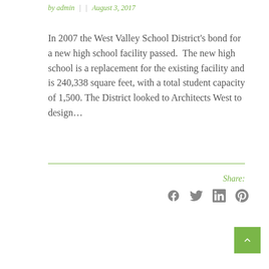by admin  |     |  August 3, 2017
In 2007 the West Valley School District's bond for a new high school facility passed.  The new high school is a replacement for the existing facility and is 240,338 square feet, with a total student capacity of 1,500. The District looked to Architects West to design…
Share:
[Figure (illustration): Social media share icons: Facebook, Twitter, LinkedIn, Pinterest]